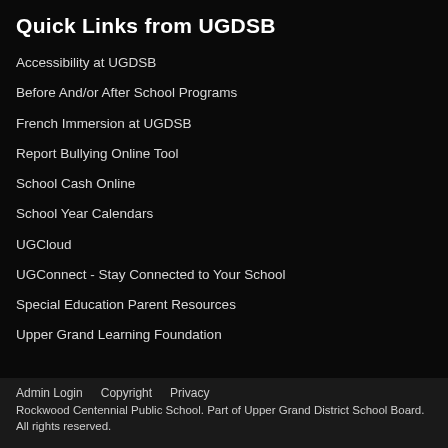Quick Links from UGDSB
Accessibility at UGDSB
Before And/or After School Programs
French Immersion at UGDSB
Report Bullying Online Tool
School Cash Online
School Year Calendars
UGCloud
UGConnect - Stay Connected to Your School
Special Education Parent Resources
Upper Grand Learning Foundation
Admin Login   Copyright   Privacy
Rockwood Centennial Public School. Part of Upper Grand District School Board. All rights reserved.